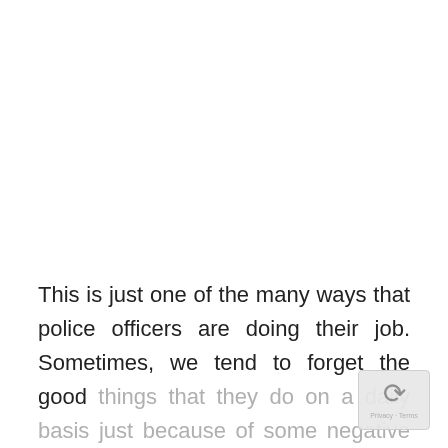This is just one of the many ways that police officers are doing their job. Sometimes, we tend to forget the good things that they do on a daily basis just because of some negative press that they have received. Officers like Aaron from